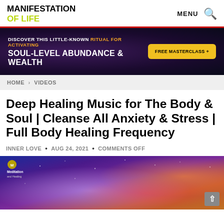MANIFESTATION OF LIFE | MENU
[Figure (infographic): Advertisement banner with dark purple space background: 'DISCOVER THIS LITTLE-KNOWN RITUAL FOR ACTIVATING SOUL-LEVEL ABUNDANCE & WEALTH' with a yellow 'FREE MASTERCLASS +' button]
HOME > VIDEOS
Deep Healing Music for The Body & Soul | Cleanse All Anxiety & Stress | Full Body Healing Frequency
INNER LOVE • AUG 24, 2021 • COMMENTS OFF
[Figure (photo): Colorful cosmic/space themed thumbnail image with blues, purples, and oranges/reds. Shows 'Meditation and Healing' logo in top left corner.]